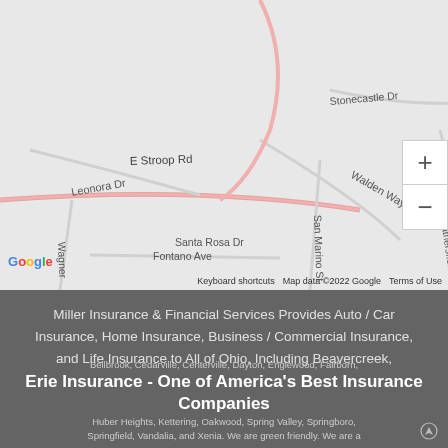[Figure (map): Google Maps street map showing area around E Stroop Rd, Weathersfield Dr, Reed Rd, and Route 675 in Ohio. Street names visible include Leonora Dr, Stonecastle Dr, Bascule Bridge Dr, Frontenac Dr, Walden Way, Clover Ln, Reed Rd, Santa Rosa Dr, San Marino St, Weathersfield Dr, Wagner, Fontano Ave, Marque. Map data ©2022 Google.]
Miller Insurance & Financial Services Provides Auto / Car Insurance, Home Insurance, Business / Commercial Insurance, and Life Insurance to All of Ohio, Including Beavercreek, Bellbrook, Cedarville, Centerville, Dayton, Englewood, Fairborn, Huber Heights, Kettering, Oakwood, Spring Valley, Springboro, Springfield, Vandalia, and Xenia. We are green friendly. We are a
Erie Insurance - One of America's Best Insurance Companies